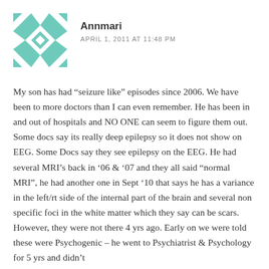[Figure (illustration): Teal and white geometric quilt-pattern avatar icon]
Annmari
APRIL 1, 2011 AT 11:48 PM
My son has had “seizure like” episodes since 2006. We have been to more doctors than I can even remember. He has been in and out of hospitals and NO ONE can seem to figure them out. Some docs say its really deep epilepsy so it does not show on EEG. Some Docs say they see epilepsy on the EEG. He had several MRI’s back in ’06 & ’07 and they all said “normal MRI”, he had another one in Sept ’10 that says he has a variance in the left/rt side of the internal part of the brain and several non specific foci in the white matter which they say can be scars. However, they were not there 4 yrs ago. Early on we were told these were Psychogenic – he went to Psychiatrist & Psychology for 5 yrs and didn’t